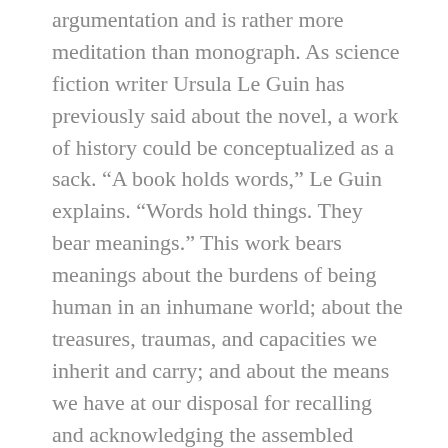argumentation and is rather more meditation than monograph. As science fiction writer Ursula Le Guin has previously said about the novel, a work of history could be conceptualized as a sack. “A book holds words,” Le Guin explains. “Words hold things. They bear meanings.” This work bears meanings about the burdens of being human in an inhumane world; about the treasures, traumas, and capacities we inherit and carry; and about the means we have at our disposal for recalling and acknowledging the assembled wisdom of ancestral women.
Each of these authors professed a deep and committed love for their own families, for captive Black people, and for the principle of ethical action rooted in relationship.
Beyond the trinity of Rose, Ruth, and Ashley, a circle of Black women writers and storytellers will emerge in these pages. Some, like Harriet Jacobs